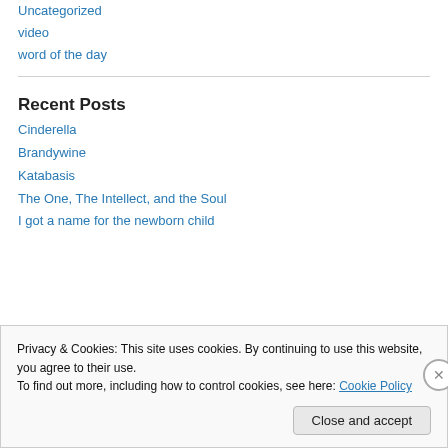Uncategorized
video
word of the day
Recent Posts
Cinderella
Brandywine
Katabasis
The One, The Intellect, and the Soul
I got a name for the newborn child
Privacy & Cookies: This site uses cookies. By continuing to use this website, you agree to their use. To find out more, including how to control cookies, see here: Cookie Policy
Close and accept